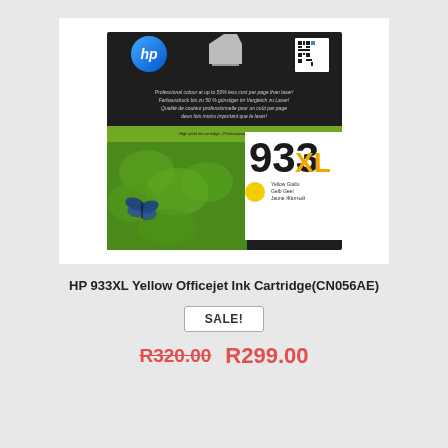[Figure (photo): HP 933XL Yellow Officejet Ink Cartridge product box showing HP logo, 933XL branding with yellow color indicator, green nature background with butterflies]
HP 933XL Yellow Officejet Ink Cartridge(CN056AE)
SALE!
R320.00  R299.00